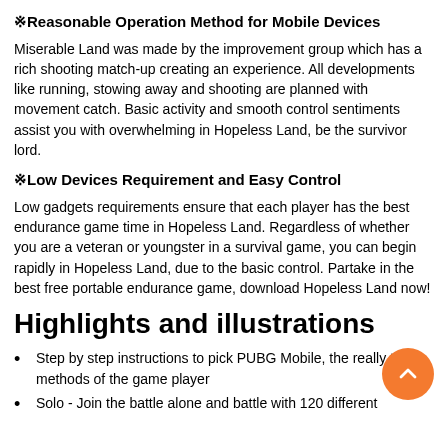※Reasonable Operation Method for Mobile Devices
Miserable Land was made by the improvement group which has a rich shooting match-up creating an experience. All developments like running, stowing away and shooting are planned with movement catch. Basic activity and smooth control sentiments assist you with overwhelming in Hopeless Land, be the survivor lord.
※Low Devices Requirement and Easy Control
Low gadgets requirements ensure that each player has the best endurance game time in Hopeless Land. Regardless of whether you are a veteran or youngster in a survival game, you can begin rapidly in Hopeless Land, due to the basic control. Partake in the best free portable endurance game, download Hopeless Land now!
Highlights and illustrations
Step by step instructions to pick PUBG Mobile, the really three methods of the game player
Solo - Join the battle alone and battle with 120 different